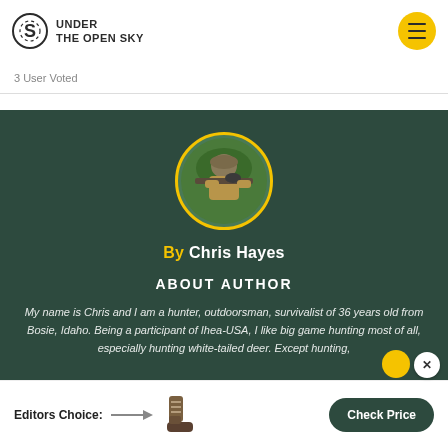UNDER THE OPEN SKY
3 User Voted
[Figure (photo): Author profile section on dark green background. Circular portrait photo of a hunter aiming a rifle with a scope, wearing camouflage gear, surrounded by a yellow ring. Text: By Chris Hayes. Section heading: ABOUT AUTHOR. Bio text: My name is Chris and I am a hunter, outdoorsman, survivalist of 36 years old from Bosie, Idaho. Being a participant of Ihea-USA, I like big game hunting most of all, especially hunting white-tailed deer. Except hunting,]
Editors Choice:
Check Price